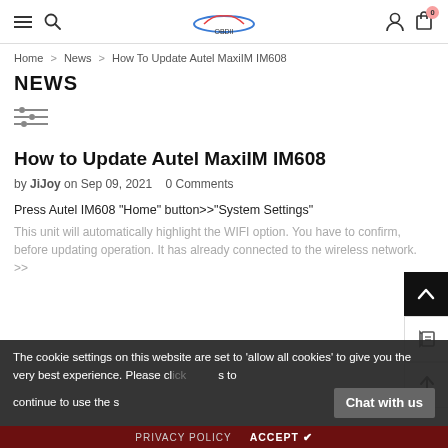Navigation header with hamburger menu, search icon, car logo, user icon, and cart (0)
Home > News > How To Update Autel MaxiIM IM608
NEWS
[Figure (other): Filter/settings sliders icon]
How to Update Autel MaxiIM IM608
by JiJoy on Sep 09, 2021   0 Comments
Press Autel IM608 "Home" button>>"System Settings"
This unit will automatically highlight the WIFI option. You have to confirm, before updating operation. It has already connected to the wireless network. >>
The cookie settings on this website are set to 'allow all cookies' to give you the very best experience. Please click to continue to use the site.
Chat with us
PRIVACY POLICY   ACCEPT ✔